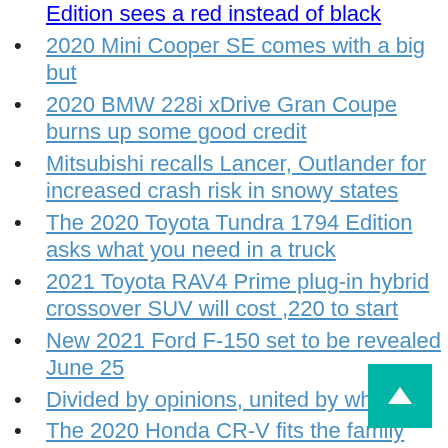Edition sees a red instead of black
2020 Mini Cooper SE comes with a big but
2020 BMW 228i xDrive Gran Coupe burns up some good credit
Mitsubishi recalls Lancer, Outlander for increased crash risk in snowy states
The 2020 Toyota Tundra 1794 Edition asks what you need in a truck
2021 Toyota RAV4 Prime plug-in hybrid crossover SUV will cost ,220 to start
New 2021 Ford F-150 set to be revealed June 25
Divided by opinions, united by wheels
The 2020 Honda CR-V fits the family without much flair
Ford Fiesta, other small cars top IIHS list of...